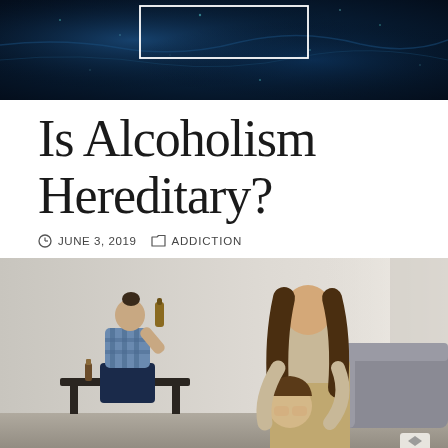[Figure (photo): Dark blue underwater/abstract background with a white rectangular border overlay, used as header banner image]
Is Alcoholism Hereditary?
JUNE 3, 2019   ADDICTION
[Figure (photo): A man drinking from a bottle in the background while a woman comforts a distressed child in the foreground, in a living room setting, depicting family affected by alcoholism]